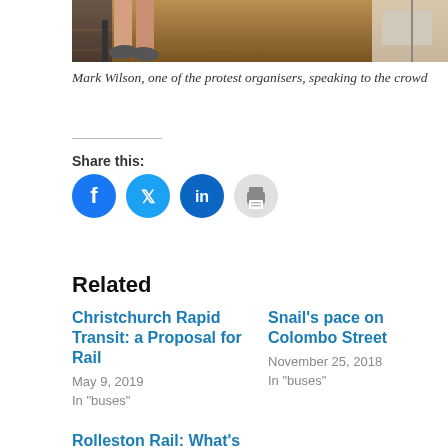[Figure (photo): Partial photo showing legs/feet of a person sitting, wooden floor background, protest meeting setting]
Mark Wilson, one of the protest organisers, speaking to the crowd
Share this:
[Figure (infographic): Social share icons: Facebook, Twitter, LinkedIn, Print]
Related
Christchurch Rapid Transit: a Proposal for Rail
May 9, 2019
In "buses"
Snail's pace on Colombo Street
November 25, 2018
In "buses"
Rolleston Rail: What's